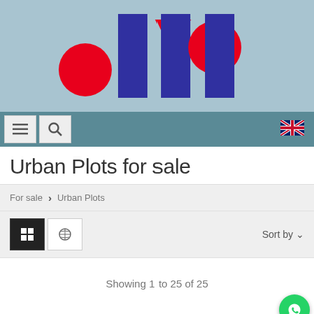[Figure (logo): Company logo with blue rectangular columns, red circles, and a red downward-pointing triangle on a light blue background]
[Figure (screenshot): Navigation bar with hamburger menu, search icon, and UK flag icon on teal background]
Urban Plots for sale
For sale > Urban Plots
[Figure (screenshot): View toggle buttons (list/map) and Sort by dropdown in toolbar]
Showing 1 to 25 of 25
Filter results